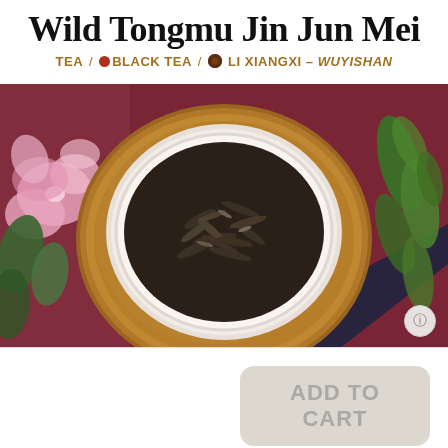Wild Tongmu Jin Jun Mei
TEA / ♦ BLACK TEA / ● LI XIANGXI – WUYISHAN
[Figure (photo): Overhead view of Wild Tongmu Jin Jun Mei black tea leaves in a white ceramic bowl on a round wooden tray, placed on a dark red/maroon cloth surface, with pink flowers on the left and green fern leaves on the right.]
ADD TO CART
This tea is only available pre-packed in 5g single servings